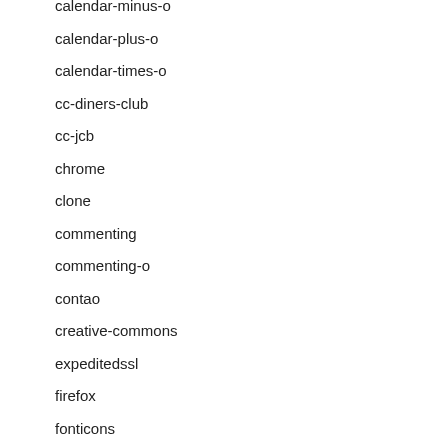calendar-minus-o
calendar-plus-o
calendar-times-o
cc-diners-club
cc-jcb
chrome
clone
commenting
commenting-o
contao
creative-commons
expeditedssl
firefox
fonticons
genderless